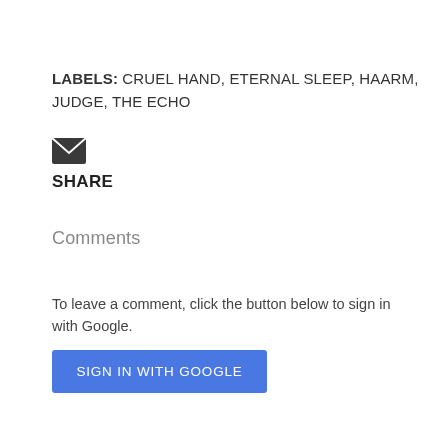LABELS: CRUEL HAND, ETERNAL SLEEP, HAARM, JUDGE, THE ECHO
[Figure (illustration): Small dark envelope icon (email/share icon)]
SHARE
Comments
To leave a comment, click the button below to sign in with Google.
SIGN IN WITH GOOGLE